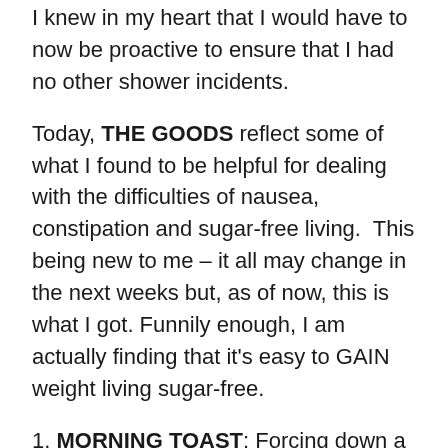I knew in my heart that I would have to now be proactive to ensure that I had no other shower incidents.
Today, THE GOODS reflect some of what I found to be helpful for dealing with the difficulties of nausea, constipation and sugar-free living.  This being new to me – it all may change in the next weeks but, as of now, this is what I got. Funnily enough, I am actually finding that it's easy to GAIN weight living sugar-free.
1. MORNING TOAST: Forcing down a piece of toast with butter or cream cheese with my tea (I am not a coffee drinker) the minute I wake up has helped me tons.  It settles my stomach almost immediately.  I can wait to eat a proper breakfast a bit later but this first toast has become my lifeline. After that, I tend to put something in my mouth about every two hours with bigger meals at breakfast, lunch and dinner.  Eating some sort of protein at least